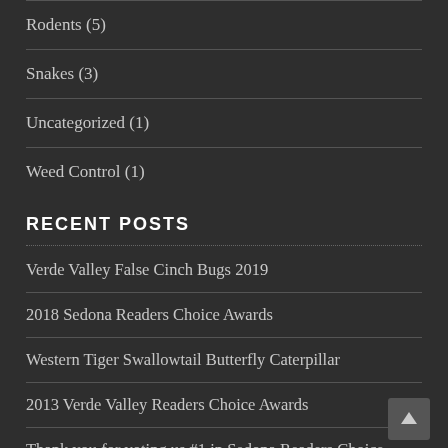Rodents (5)
Snakes (3)
Uncategorized (1)
Weed Control (1)
RECENT POSTS
Verde Valley False Cinch Bugs 2019
2018 Sedona Readers Choice Awards
Western Tiger Swallowtail Butterfly Caterpillar
2013 Verde Valley Readers Choice Awards
Thank you for voting us #1 in Sedona Readers Choice awards for 2012 everyone !!!!!